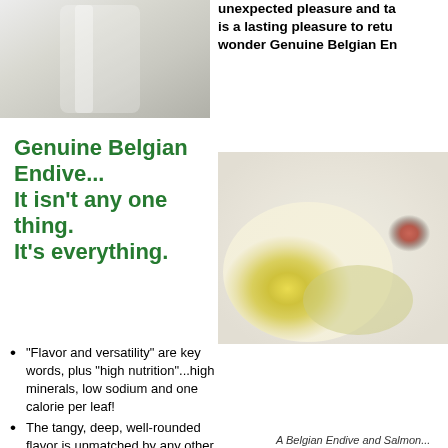[Figure (photo): Close-up photo of what appears to be a glass or light-colored object with blurred background]
unexpected pleasure and ta... is a lasting pleasure to retu... wonder Genuine Belgian En...
Genuine Belgian Endive... It isn't any one thing. It's everything.
[Figure (photo): Blurred food photo showing Belgian endive dish with yellow and red colors]
"Flavor and versatility" are key words, plus "high nutrition"...high minerals, low sodium and one calorie per leaf!
The tangy, deep, well-rounded flavor is unmatched by any other endive.
The flavor changes subtly when endive is steamed, stewed,
A Belgian Endive and Salmon...